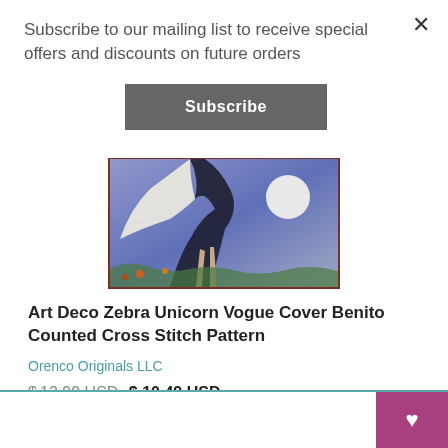Subscribe to our mailing list to receive special offers and discounts on future orders
Subscribe
[Figure (illustration): Cross stitch pattern product image showing a fantasy/art deco scene with a figure and moon on blue background]
Art Deco Zebra Unicorn Vogue Cover Benito Counted Cross Stitch Pattern
Orenco Originals LLC
$13.99 USD $ 10.49 USD
d to Cart